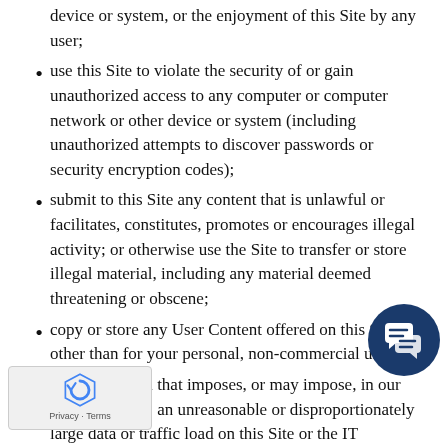device or system, or the enjoyment of this Site by any user;
use this Site to violate the security of or gain unauthorized access to any computer or computer network or other device or system (including unauthorized attempts to discover passwords or security encryption codes);
submit to this Site any content that is unlawful or facilitates, constitutes, promotes or encourages illegal activity; or otherwise use the Site to transfer or store illegal material, including any material deemed threatening or obscene;
copy or store any User Content offered on this Site other than for your personal, non-commercial use;
take any action that imposes, or may impose, in our sole discretion, an unreasonable or disproportionately large data or traffic load on this Site or the IT infrastructure used to operate and make this Site available; or